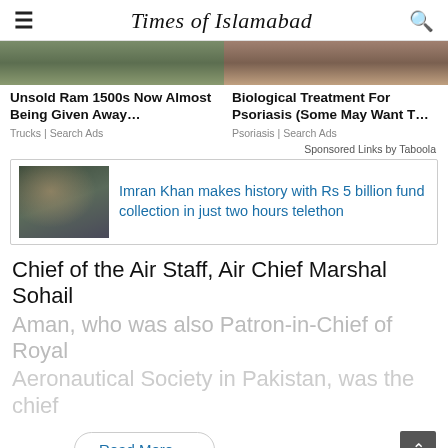Times of Islamabad
[Figure (photo): Two cropped ad images side by side — left shows outdoor/truck scene, right shows skin/medical treatment scene]
Unsold Ram 1500s Now Almost Being Given Away…
Trucks | Search Ads
Biological Treatment For Psoriasis (Some May Want T…
Psoriasis | Search Ads
Sponsored Links by Taboola
[Figure (photo): Thumbnail photo of Imran Khan with people around him]
Imran Khan makes history with Rs 5 billion fund collection in just two hours telethon
Chief of the Air Staff, Air Chief Marshal Sohail
Aman, who was also Patron-in-Chief of Royal
Aeronautical Society in Pakistan, was the chief
Read More
Taboola Feed